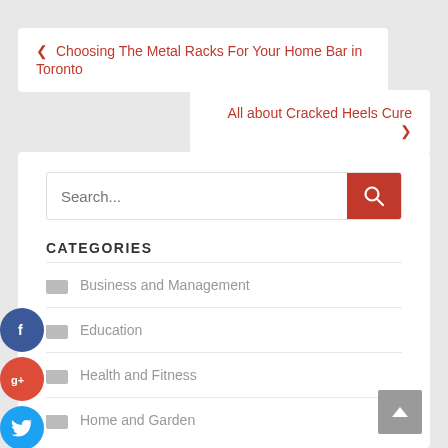❮ Choosing The Metal Racks For Your Home Bar in Toronto
All about Cracked Heels Cure ❯
[Figure (screenshot): Search input bar with a red search button containing a magnifying glass icon]
CATEGORIES
Business and Management
Education
Health and Fitness
Home and Garden
[Figure (infographic): Social media icons column: Facebook (blue circle with f), Google+ (red circle with g+), Twitter (blue circle with bird), Add/Plus (dark circle with +)]